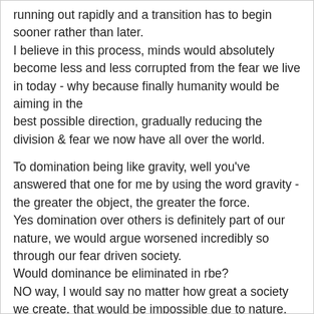running out rapidly and a transition has to begin sooner rather than later.
I believe in this process, minds would absolutely become less and less corrupted from the fear we live in today - why because finally humanity would be aiming in the best possible direction, gradually reducing the division & fear we now have all over the world.
To domination being like gravity, well you've answered that one for me by using the word gravity - the greater the object, the greater the force.
Yes domination over others is definitely part of our nature, we would argue worsened incredibly so through our fear driven society.
Would dominance be eliminated in rbe?
NO way, I would say no matter how great a society we create, that would be impossible due to nature.